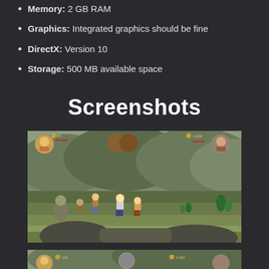Memory: 2 GB RAM
Graphics: Integrated graphics should be fine
DirectX: Version 10
Storage: 500 MB available space
Screenshots
[Figure (screenshot): LEGO Lord of the Rings gameplay screenshot showing LEGO characters in an outdoor rocky landscape with HUD elements including health hearts and coin counters]
[Figure (screenshot): Second LEGO Lord of the Rings gameplay screenshot (partially visible) showing similar game HUD at bottom of page]